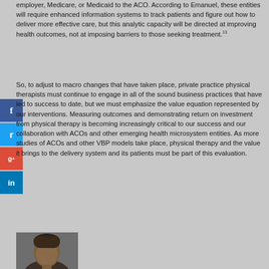employer, Medicare, or Medicaid to the ACO. According to Emanuel, these entities will require enhanced information systems to track patients and figure out how to deliver more effective care, but this analytic capacity will be directed at improving health outcomes, not at imposing barriers to those seeking treatment.13
So, to adjust to macro changes that have taken place, private practice physical therapists must continue to engage in all of the sound business practices that have led to success to date, but we must emphasize the value equation represented by our interventions. Measuring outcomes and demonstrating return on investment from physical therapy is becoming increasingly critical to our success and our collaboration with ACOs and other emerging health microsystem entities. As more studies of ACOs and other VBP models take place, physical therapy and the value it brings to the delivery system and its patients must be part of this evaluation.
[Figure (photo): Headshot photo of a person, partially visible, showing head and shoulders]